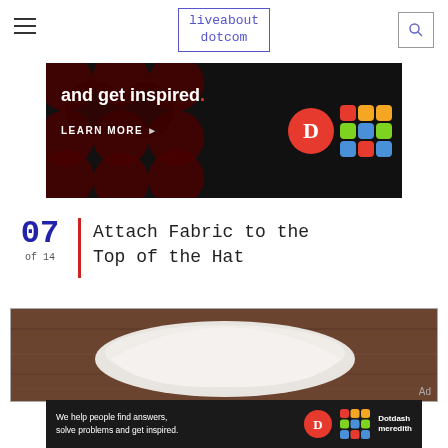liveabout dotcom
[Figure (photo): Advertisement banner with dark background showing 'and get inspired.' text in white/bold, LEARN MORE button, and Dotdash Meredith logos]
07 of 14 | Attach Fabric to the Top of the Hat
[Figure (photo): Photo of white fabric on a wooden surface, showing the top of a hat being assembled]
[Figure (photo): Bottom advertisement: We help people find answers, solve problems and get inspired. Dotdash meredith logo]